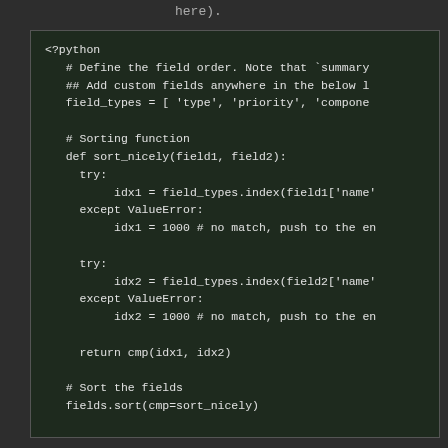here).
[Figure (screenshot): Code block showing Python script with field ordering, sorting function sort_nicely using try/except ValueError, fields.sort, and fields_map regeneration using xrange.]